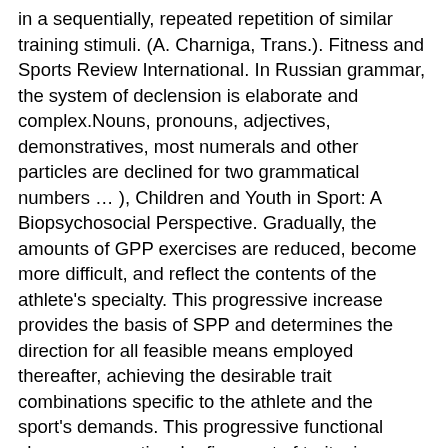in a sequentially, repeated repetition of similar training stimuli. (A. Charniga, Trans.). Fitness and Sports Review International. In Russian grammar, the system of declension is elaborate and complex.Nouns, pronouns, adjectives, demonstratives, most numerals and other particles are declined for two grammatical numbers … ), Children and Youth in Sport: A Biopsychosocial Perspective. Gradually, the amounts of GPP exercises are reduced, become more difficult, and reflect the contents of the athlete's specialty. This progressive increase provides the basis of SPP and determines the direction for all feasible means employed thereafter, achieving the desirable trait combinations specific to the athlete and the sport's demands. This progressive functional change, or continual refinement of traits, is a prerequisite for improved performance, allowing growth through the Principle of Dynamic Organization. Once you familiarize yourself with a verb's conjugation, you can use it for any word derived from it, which will make learning … (4th ed.). 109-111). 61-7). (4th ed.). The training means and methods are now rotated and repeated at various times during the macrocycle. бегать, побегать – to run (multi-directional) … 2. Fundamentals of Special Strength-Training in Sport. In Russian, then, you can tell who is doing the working, for example, even if a pronoun is not used. While adaptation over time is contingent upon the functional development of the organism's motor potential and the ability